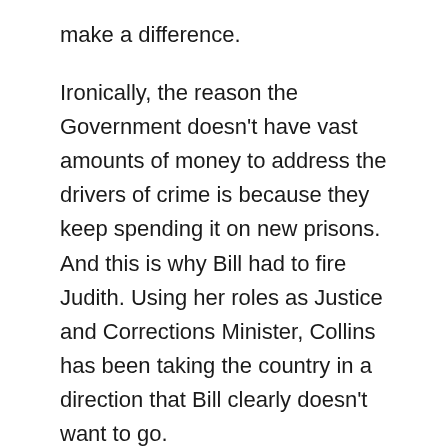make a difference.
Ironically, the reason the Government doesn't have vast amounts of money to address the drivers of crime is because they keep spending it on new prisons. And this is why Bill had to fire Judith. Using her roles as Justice and Corrections Minister, Collins has been taking the country in a direction that Bill clearly doesn't want to go.
So does this mean that as Prime Minister, Mr English is now going to cancel the new prison and put the $2.5 billion into social justice investment? Not bloody likely. Not unless he wants to lose the next election as badly as he did in 2002. For Government, holding onto power is always more important than